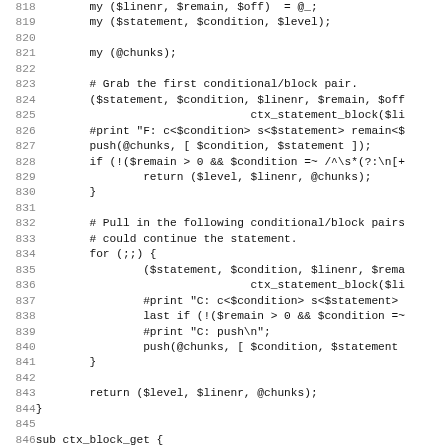[Figure (screenshot): Source code listing in Perl/monospace font, lines 818-850, showing subroutine code with conditional/block parsing logic and a new sub ctx_block_get definition.]